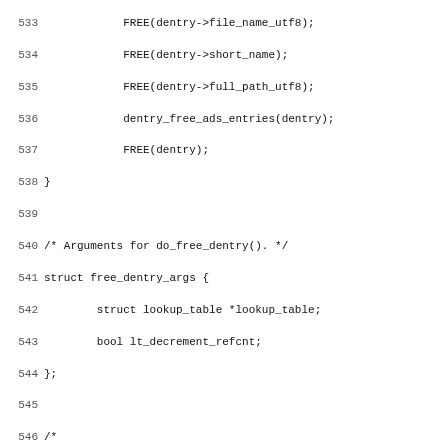Source code listing, lines 533-565, showing C code for dentry free functions and do_free_dentry function